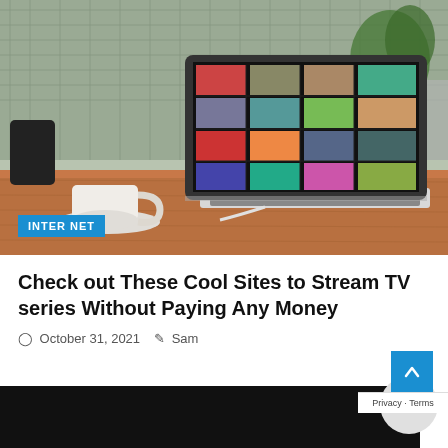[Figure (photo): Laptop on a wooden desk showing a streaming service grid of TV show thumbnails, with a coffee cup and saucer to the left, green plants visible in background. An 'INTERNET' badge overlay in blue at bottom left of image.]
Check out These Cool Sites to Stream TV series Without Paying Any Money
October 31, 2021  Sam
[Figure (photo): Dark/black image at bottom of page, partially visible.]